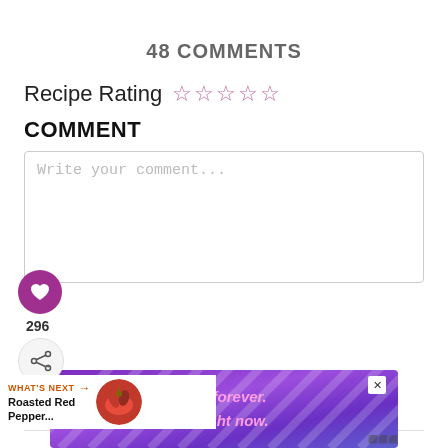48 COMMENTS
Recipe Rating ☆☆☆☆☆
COMMENT
Write your comment...
[Figure (infographic): Heart (like) button with purple circle, count 296, and share button below]
[Figure (infographic): WHAT'S NEXT arrow label with Roasted Red Pepper... text and circular food image]
[Figure (infographic): Purple advertisement banner reading 'This isn't forever. It's just right now.' with close button and logo]